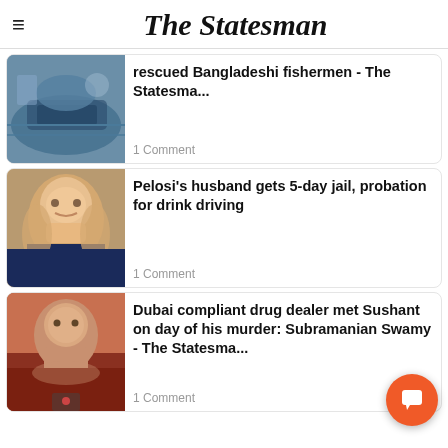The Statesman
[Figure (photo): Image of a boat rescue at sea with fishermen]
rescued Bangladeshi fishermen - The Statesma...
1 Comment
[Figure (photo): Photo of Nancy Pelosi gesturing with her hand]
Pelosi's husband gets 5-day jail, probation for drink driving
1 Comment
[Figure (photo): Close-up photo of Subramanian Swamy]
Dubai compliant drug dealer met Sushant on day of his murder: Subramanian Swamy - The Statesma...
1 Comment